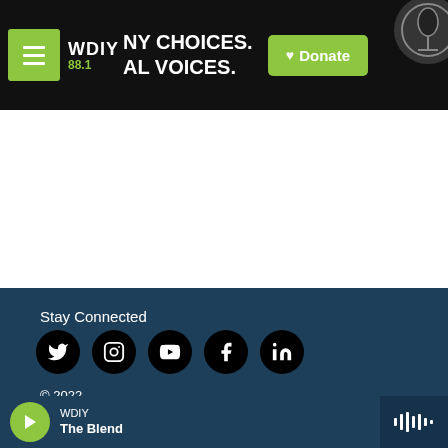WDIY 88.1 — NY CHOICES. AL VOICES. | Donate
Stay Connected
[Figure (other): Social media icons: Twitter, Instagram, YouTube, Facebook, LinkedIn — white icons on black circles]
© 2022
Contact
WDIY — The Blend (with play button and waveform)